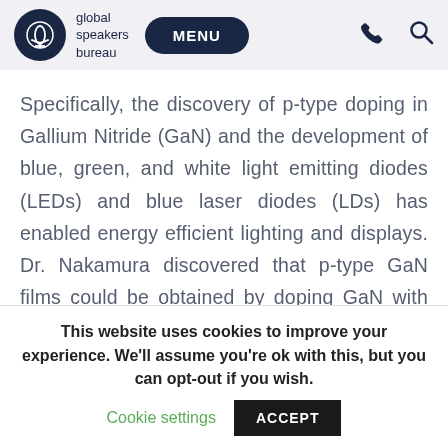global speakers bureau | MENU
Specifically, the discovery of p-type doping in Gallium Nitride (GaN) and the development of blue, green, and white light emitting diodes (LEDs) and blue laser diodes (LDs) has enabled energy efficient lighting and displays. Dr. Nakamura discovered that p-type GaN films could be obtained by doping GaN with Mg, with successive post-thermal annealing in nitrogen ambient at temperatures above 400°C. Dr. Nakamura also developed InGaN films of the highest crystal quality
This website uses cookies to improve your experience. We'll assume you're ok with this, but you can opt-out if you wish.
Cookie settings   ACCEPT